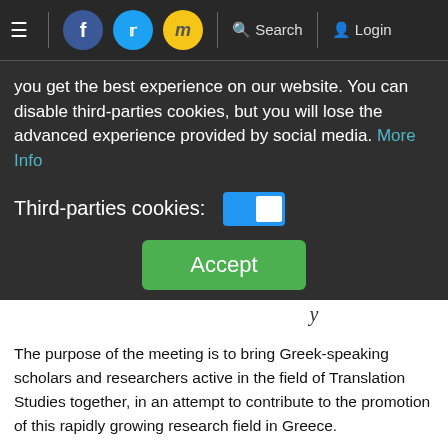≡  [Facebook] [Twitter] [Moodle]  🔍 Search  👤 Login
you get the best experience on our website. You can disable third-parties cookies, but you will lose the advanced experience provided by social media. More Info
Third-parties cookies: [toggle]
Accept
The purpose of the meeting is to bring Greek-speaking scholars and researchers active in the field of Translation Studies together, in an attempt to contribute to the promotion of this rapidly growing research field in Greece.
In Greece and Cyprus, the field of Translation Studies is constantly evolving and the number of academic books and articles related to the field of Translation Studies has increased. Additionally, there is a systematic effort to make the profession of the translator visible, as well as to highlight the need to